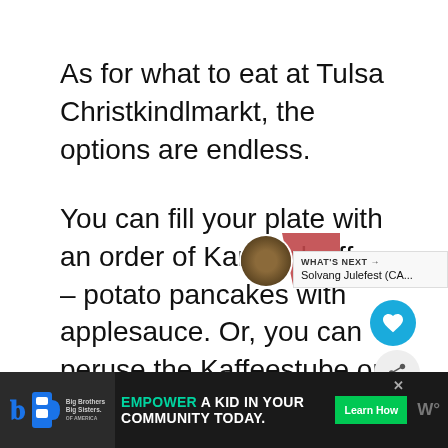As for what to eat at Tulsa Christkindlmarkt, the options are endless.
You can fill your plate with an order of Kartoffelpuffer – potato pancakes with applesauce. Or, you can peruse the Kaffeestube or German-style bistro that sets up on-site, serving Bratwurst and sauerkraut, schnitzel sandwiches, and gulasch for some heartier options.
[Figure (screenshot): UI overlay elements: heart/favorite button (cyan circle with heart icon), share button (grey circle with share icon), 'What's Next' card showing 'Solvang Julefest (CA...' with thumbnail, and pink decorative shape]
[Figure (infographic): Advertisement bar at bottom: Big Brothers Big Sisters logo on dark left panel, 'EMPOWER A KID IN YOUR COMMUNITY TODAY.' text with Learn How green button, close X, and W logo]